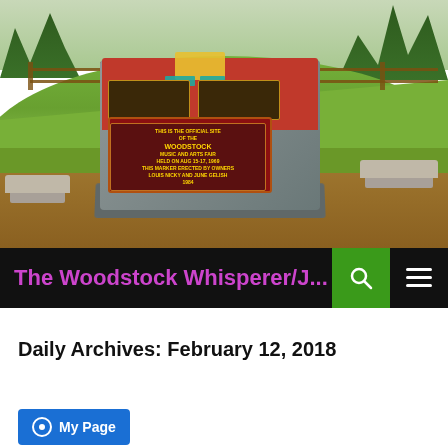[Figure (photo): Outdoor photo of the Woodstock Music and Arts Fair memorial monument/marker stone with red top and bronze plaques, surrounded by wood-chip ground cover, with two stone benches on either side, a wooden fence, and a green grass hill with trees in the background under an overcast sky.]
The Woodstock Whisperer/J...
Daily Archives: February 12, 2018
My Page